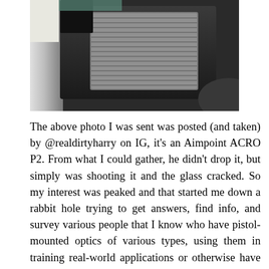[Figure (photo): Close-up photo of an Aimpoint ACRO P2 optic mounted on a pistol slide, showing the textured rear adjustment knob and black housing with metallic/chrome slide rail visible.]
The above photo I was sent was posted (and taken) by @realdirtyharry on IG, it's an Aimpoint ACRO P2. From what I could gather, he didn't drop it, but simply was shooting it and the glass cracked. So my interest was peaked and that started me down a rabbit hole trying to get answers, find info, and survey various people that I know who have pistol-mounted optics of various types, using them in training real-world applications or otherwise have had the applicable experience to my query. This led me to a broader look at the industry, the